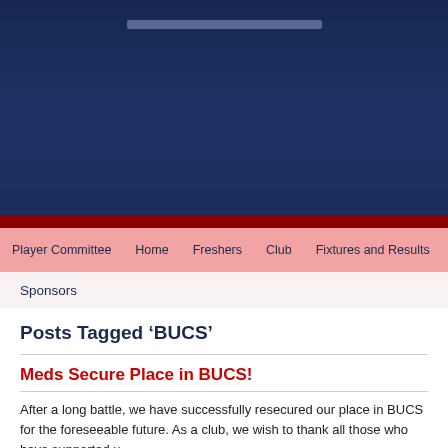[Figure (other): Dark navy blue header banner for a sports club website, with a light grey/blue horizontal bar near the top center.]
Player Committee   Home   Freshers   Club   Fixtures and Results
Sponsors
Posts Tagged 'BUCS'
Meds Secure Place in BUCS!
After a long battle, we have successfully resecured our place in BUCS for the foreseeable future. As a club, we wish to thank all those who have supported u